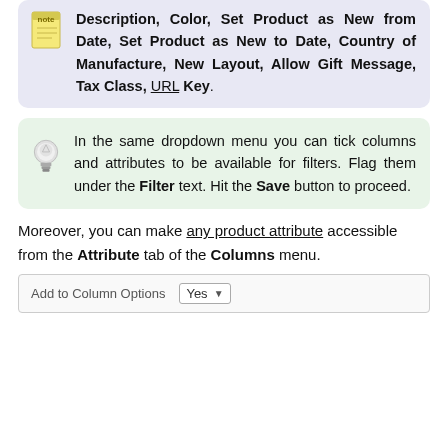Description, Color, Set Product as New from Date, Set Product as New to Date, Country of Manufacture, New Layout, Allow Gift Message, Tax Class, URL Key.
In the same dropdown menu you can tick columns and attributes to be available for filters. Flag them under the Filter text. Hit the Save button to proceed.
Moreover, you can make any product attribute accessible from the Attribute tab of the Columns menu.
[Figure (screenshot): Screenshot showing Add to Column Options field with a Yes dropdown selector]